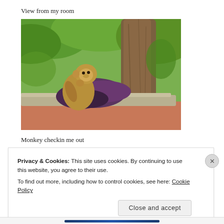View from my room
[Figure (photo): A monkey sitting near a large tree trunk, eating or examining purple flowers/plants. Green shrubs and trees visible in background. Stone ledge and red ground visible in foreground.]
Monkey checkin me out
Privacy & Cookies: This site uses cookies. By continuing to use this website, you agree to their use.
To find out more, including how to control cookies, see here: Cookie Policy
Close and accept